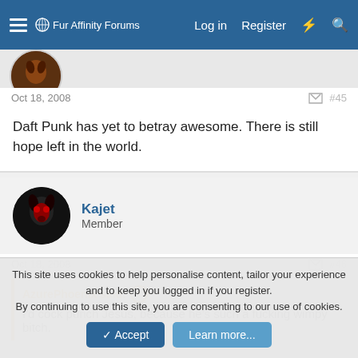Fur Affinity Forums   Log in   Register
Oct 18, 2008   #45
Daft Punk has yet to betray awesome. There is still hope left in the world.
Kajet
Member
Oct 18, 2008   #46
AzurePhoenix said:
I'd cock punch Jesus, because he's such a fucking wimpy bitch.
This site uses cookies to help personalise content, tailor your experience and to keep you logged in if you register.
By continuing to use this site, you are consenting to our use of cookies.